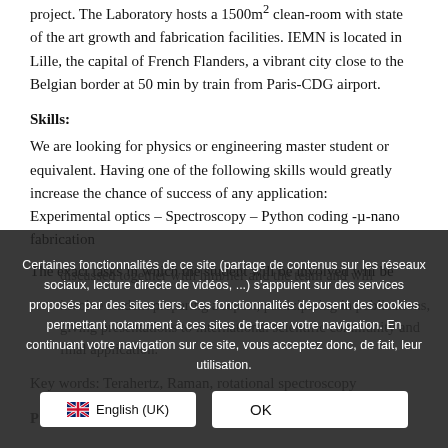project. The Laboratory hosts a 1500m2 clean-room with state of the art growth and fabrication facilities. IEMN is located in Lille, the capital of French Flanders, a vibrant city close to the Belgian border at 50 min by train from Paris-CDG airport.
Skills:
We are looking for physics or engineering master student or equivalent. Having one of the following skills would greatly increase the chance of success of any application: Experimental optics – Spectroscopy – Python coding -µ-nano fabrication
The exact tasks in which the student will be involved will be discussed together with him/her and the team and will
Certaines fonctionnalités de ce site (partage de contenus sur les réseaux sociaux, lecture directe de vidéos, ...) s'appuient sur des services proposés par des sites tiers. Ces fonctionnalités déposent des cookies permettant notamment à ces sites de tracer votre navigation. En continuant votre navigation sur ce site, vous acceptez donc, de fait, leur utilisation.
Key words: Terahertz, Raman, rotational spectroscopy
P... with